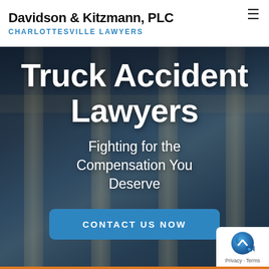Davidson & Kitzmann, PLC — CHARLOTTESVILLE LAWYERS
Truck Accident Lawyers
Fighting for the Compensation You Deserve
[Figure (other): Blue rounded rectangle button with text CONTACT US NOW]
[Figure (logo): Google Maps/Street View privacy widget with circular blue icon, Privacy · Terms text]